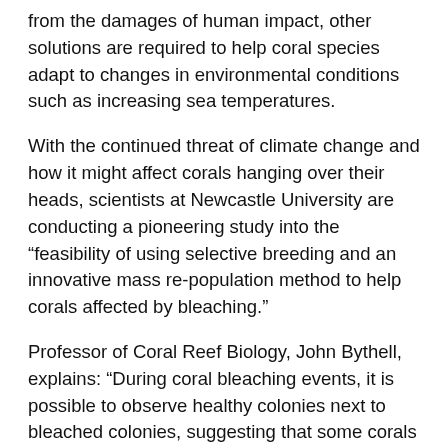from the damages of human impact, other solutions are required to help coral species adapt to changes in environmental conditions such as increasing sea temperatures.
With the continued threat of climate change and how it might affect corals hanging over their heads, scientists at Newcastle University are conducting a pioneering study into the “feasibility of using selective breeding and an innovative mass re-population method to help corals affected by bleaching.”
Professor of Coral Reef Biology, John Bythell, explains: “During coral bleaching events, it is possible to observe healthy colonies next to bleached colonies, suggesting that some corals are better adapted to higher temperatures. This means that one possible solution could be to selectively breed corals that can withstand higher than normal temperatures and successfully pass this onto